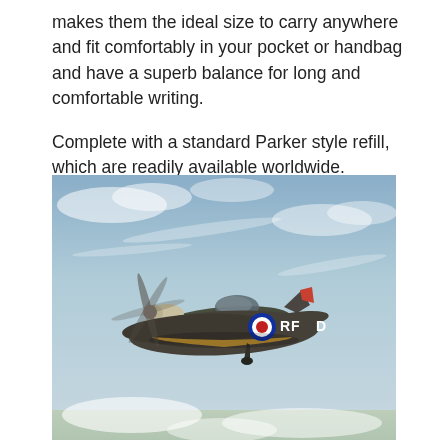makes them the ideal size to carry anywhere and fit comfortably in your pocket or handbag and have a superb balance for long and comfortable writing.
Complete with a standard Parker style refill, which are readily available worldwide.
[Figure (photo): A vintage Supermarine Spitfire aircraft with RAF roundel markings 'RF◎D' in flight against a cloudy sky background, viewed from slight below-side angle.]